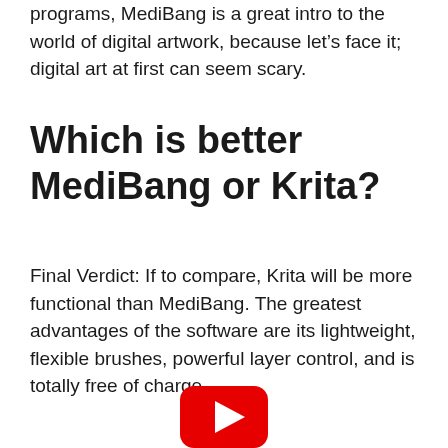programs, MediBang is a great intro to the world of digital artwork, because let’s face it; digital art at first can seem scary.
Which is better MediBang or Krita?
Final Verdict: If to compare, Krita will be more functional than MediBang. The greatest advantages of the software are its lightweight, flexible brushes, powerful layer control, and is totally free of charge.
[Figure (other): YouTube play button icon (red rounded rectangle with white triangle play symbol)]